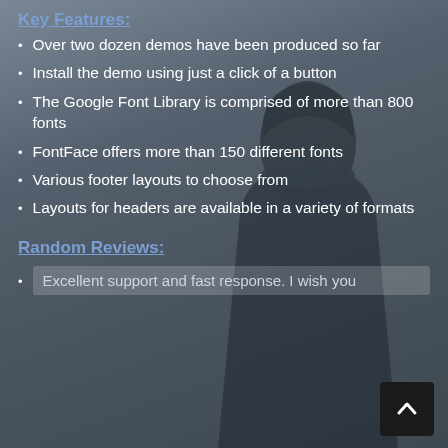Key Features:
Over two dozen demos have been produced so far
Install the demo using just a click of a button
The Google Font Library is comprised of more than 800 fonts
FontFace offers more than 150 different fonts
Various footer layouts to choose from
Layouts for headers are available in a variety of formats
Random Reviews:
Excellent support and fast response. I wish you